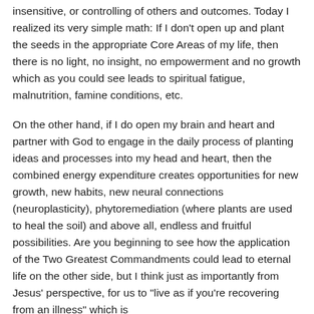insensitive, or controlling of others and outcomes. Today I realized its very simple math: If I don't open up and plant the seeds in the appropriate Core Areas of my life, then there is no light, no insight, no empowerment and no growth which as you could see leads to spiritual fatigue, malnutrition, famine conditions, etc.
On the other hand, if I do open my brain and heart and partner with God to engage in the daily process of planting ideas and processes into my head and heart, then the combined energy expenditure creates opportunities for new growth, new habits, new neural connections (neuroplasticity), phytoremediation (where plants are used to heal the soil) and above all, endless and fruitful possibilities. Are you beginning to see how the application of the Two Greatest Commandments could lead to eternal life on the other side, but I think just as importantly from Jesus' perspective, for us to "live as if you're recovering from an illness" which is